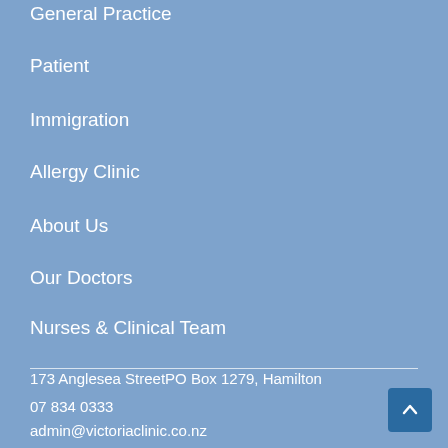General Practice
Patient
Immigration
Allergy Clinic
About Us
Our Doctors
Nurses & Clinical Team
173 Anglesea StreetPO Box 1279, Hamilton
07 834 0333
admin@victoriaclinic.co.nz